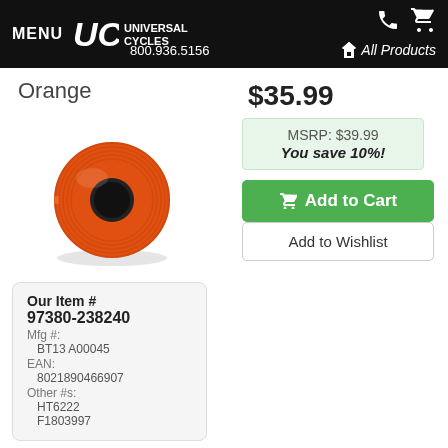MENU | UC UNIVERSAL CYCLES | 800.936.5156 | All Products
Orange
[Figure (photo): Roll of orange bicycle bar tape]
$35.99
MSRP: $39.99
You save 10%!
Add to Cart
Add to Wishlist
| Our Item # | 97380-238240 |
| Mfg #: | BT13 A00045 |
| EAN: | 8021890466907 |
| Other #s: | HT6222
F1803997 |
Available? Yes   Pickup Today? No
View Shipping / Pickup Details